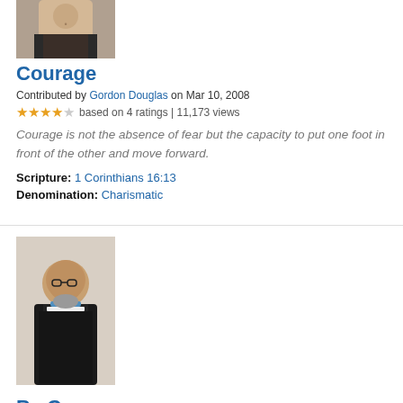[Figure (photo): Partial photo of a person at top of page]
Courage
Contributed by Gordon Douglas on Mar 10, 2008
★★★★☆ based on 4 ratings | 11,173 views
Courage is not the absence of fear but the capacity to put one foot in front of the other and move forward.
Scripture: 1 Corinthians 16:13
Denomination: Charismatic
[Figure (photo): Portrait photo of Rev. Dr. Andrew B Natarajan, a man with glasses and grey beard wearing clergy collar]
Be Courageous  ⬡ Series
Contributed by Rev. Dr. Andrew B Natarajan on Sep 8, 2020
★★★☆☆ | 4,905 views
I will never leave you nor forsake you as the 'Uninterrupted Presence of God' in our lives. Do not ever pass any perilous